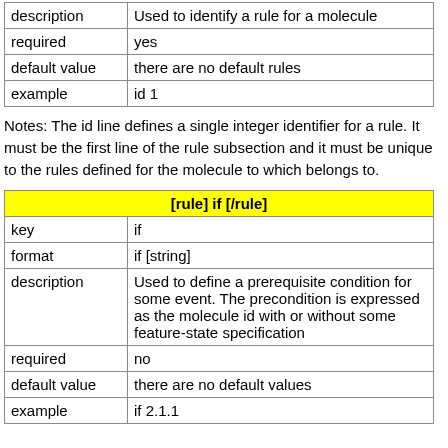| description | Used to identify a rule for a molecule |
| required | yes |
| default value | there are no default rules |
| example | id 1 |
Notes: The id line defines a single integer identifier for a rule. It must be the first line of the rule subsection and it must be unique to the rules defined for the molecule to which belongs to.
| [rule] if [/rule] |
| --- |
| key | if |
| format | if [string] |
| description | Used to define a prerequisite condition for some event. The precondition is expressed as the molecule id with or without some feature-state specification |
| required | no |
| default value | there are no default values |
| example | if 2.1.1 |